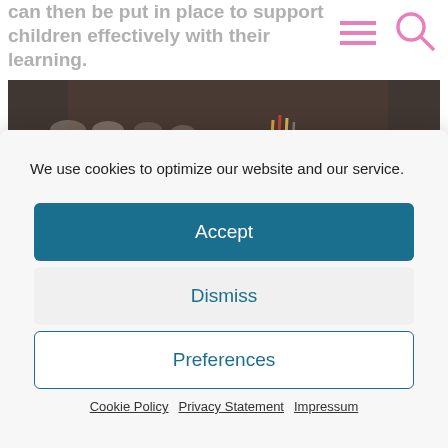can then be put in place to support children effectively with their learning.
[Figure (photo): Dark kitchen/workspace interior photo showing shelves with dishes and a cup with pencils/brushes on a counter]
We use cookies to optimize our website and our service.
Accept
Dismiss
Preferences
Cookie Policy  Privacy Statement  Impressum